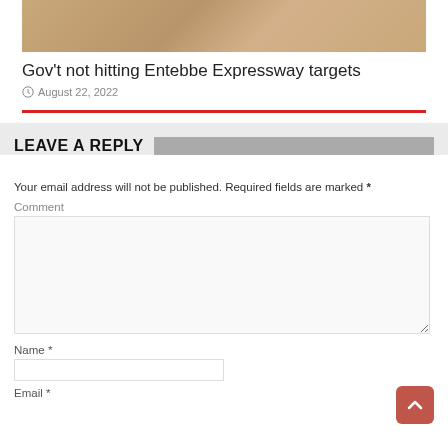[Figure (photo): Partial view of a building or road structure image, cropped at the top]
Gov't not hitting Entebbe Expressway targets
August 22, 2022
LEAVE A REPLY
Your email address will not be published. Required fields are marked *
Comment
Name *
Email *